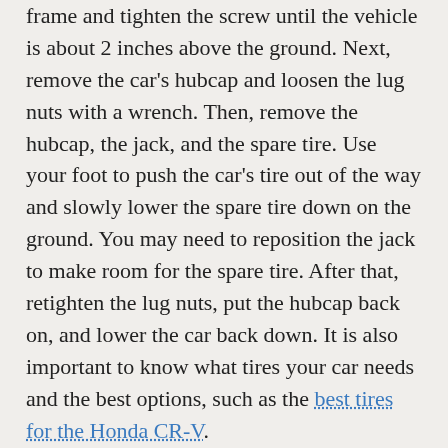frame and tighten the screw until the vehicle is about 2 inches above the ground. Next, remove the car's hubcap and loosen the lug nuts with a wrench. Then, remove the hubcap, the jack, and the spare tire. Use your foot to push the car's tire out of the way and slowly lower the spare tire down on the ground. You may need to reposition the jack to make room for the spare tire. After that, retighten the lug nuts, put the hubcap back on, and lower the car back down. It is also important to know what tires your car needs and the best options, such as the best tires for the Honda CR-V.
How to check the air pressure in tires
If you don't keep an eye on the air pressure in your tires, you're risking having a blowout or getting a ticket from a police officer. You can check the air